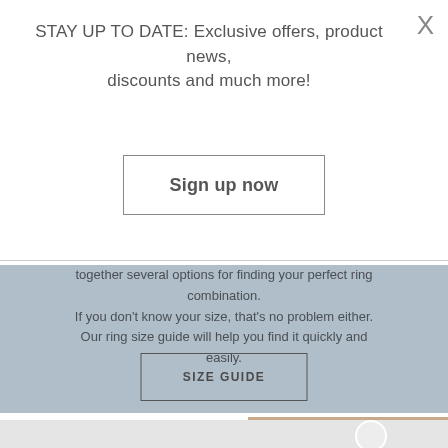STAY UP TO DATE: Exclusive offers, product news, discounts and much more!
Sign up now
together several options for finding your perfect ring combination. If you don't know your size, that's no problem either. Our ring size guide will help you find it quickly and easily.
SIZE GUIDE
[Figure (photo): Bottom of page showing a person with blonde hair, partially visible, with a circular play button icon overlay.]